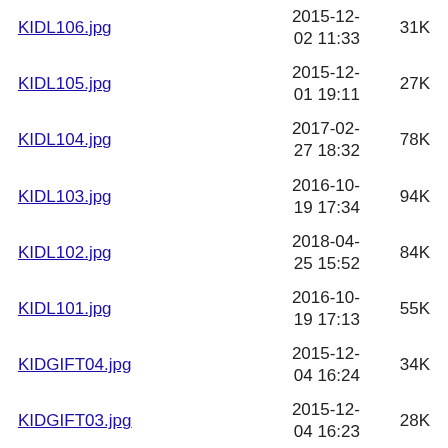KIDL106.jpg  2015-12-02 11:33  31K
KIDL105.jpg  2015-12-01 19:11  27K
KIDL104.jpg  2017-02-27 18:32  78K
KIDL103.jpg  2016-10-19 17:34  94K
KIDL102.jpg  2018-04-25 15:52  84K
KIDL101.jpg  2016-10-19 17:13  55K
KIDGIFT04.jpg  2015-12-04 16:24  34K
KIDGIFT03.jpg  2015-12-04 16:23  28K
KIDGIFT02.jpg  2015-12-04 16:23  26K
KIDGIFT01.jpg  2015-12-04 16:23  34K
KEN0001.jpg  2017-04-13 13:34  361K
KD0000.jpg  2015-09-  130K